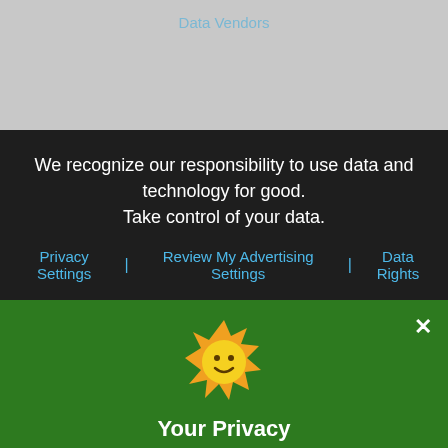Data Vendors
We recognize our responsibility to use data and technology for good. Take control of your data.
Privacy Settings | Review My Advertising Settings | Data Rights
[Figure (illustration): Smiling sun emoji icon with orange spiky border and yellow face]
Your Privacy
See our Privacy Policy to learn about the types of data we collect and how we use and share it. We collect data from your browser to personalize your weather and the ads you see.
Review Privacy and Advertising Settings